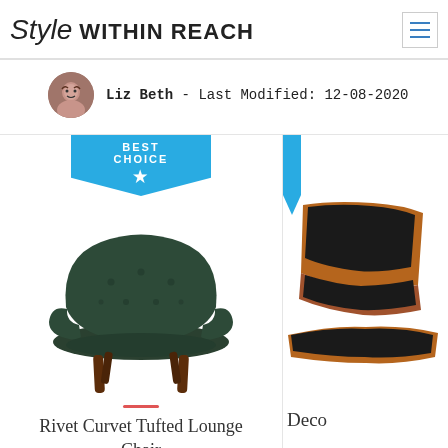Style WITHIN REACH
Liz Beth - Last Modified: 12-08-2020
[Figure (photo): Rivet Curvet Tufted Lounge Chair with BEST CHOICE badge above it; dark green velvet upholstery with tufted back and wooden legs]
Rivet Curvet Tufted Lounge Chair
[Figure (photo): Partial view of a second chair (Deco...) — black leather with wood frame, partially cut off on the right edge]